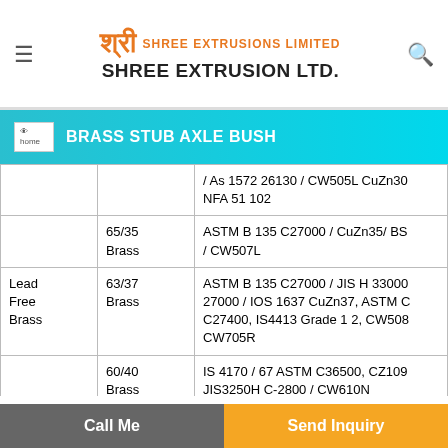SHREE EXTRUSION LTD.
BRASS STUB AXLE BUSH
|  | Grade | Standards |
| --- | --- | --- |
|  |  | / As 1572 26130 / CW505L CuZn30 NFA 51 102 |
|  | 65/35 Brass | ASTM B 135 C27000 / CuZn35/ BS / CW507L |
| Lead Free Brass | 63/37 Brass | ASTM B 135 C27000 / JIS H 33000 27000 / IOS 1637 CuZn37, ASTM C C27400, IS4413 Grade 1 2, CW508 CW705R |
|  | 60/40 Brass | IS 4170 / 67 ASTM C36500, CZ109 JIS3250H C-2800 / CW610N |
|  | Red Brass | ASTM B 135 C 23000 / BS 2870 CZ JIS H3300 C 2300 ASTM C69400, C |
Call Me | Send Inquiry